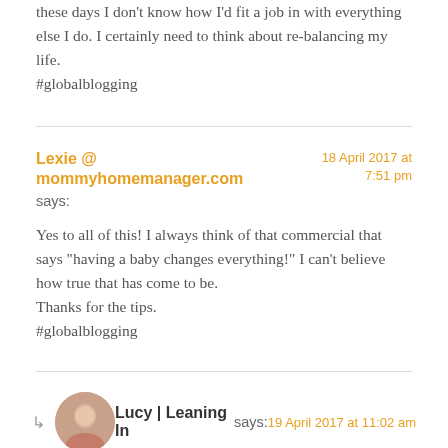these days I don't know how I'd fit a job in with everything else I do. I certainly need to think about re-balancing my life.
#globalblogging
Lexie @ mommyhomemanager.com says:
18 April 2017 at 7:51 pm
Yes to all of this! I always think of that commercial that says "having a baby changes everything!" I can't believe how true that has come to be.
Thanks for the tips.
#globalblogging
Lucy | Leaning In says:
19 April 2017 at 11:02 am